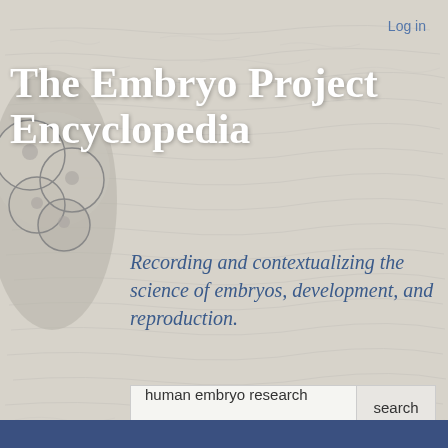Log in
[Figure (illustration): Grayscale illustration of an embryo cell cluster on the left side of the page]
The Embryo Project Encyclopedia
Recording and contextualizing the science of embryos, development, and reproduction.
human embryo research  search
[Figure (logo): Twitter bird logo icon in cyan/blue button]
[Figure (logo): Facebook 'f' logo in dark blue button]
Donate